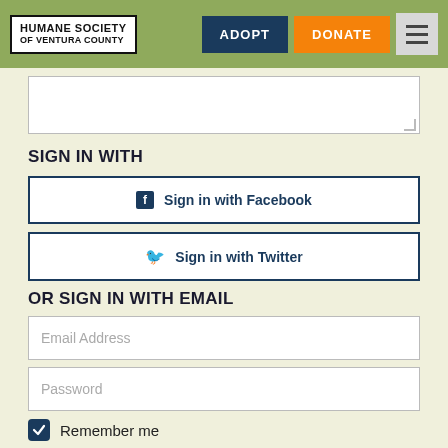HUMANE SOCIETY OF VENTURA COUNTY | ADOPT | DONATE
[Figure (screenshot): Textarea input box, partially visible at top of content area]
SIGN IN WITH
Sign in with Facebook
Sign in with Twitter
OR SIGN IN WITH EMAIL
Email Address
Password
Remember me
Post your comment  or  Create an account